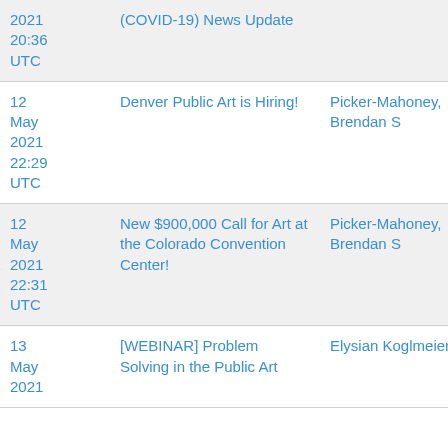| Date | Title | Author |
| --- | --- | --- |
| 2021 20:36 UTC | (COVID-19) News Update |  |
| 12 May 2021 22:29 UTC | Denver Public Art is Hiring! | Picker-Mahoney, Brendan S |
| 12 May 2021 22:31 UTC | New $900,000 Call for Art at the Colorado Convention Center! | Picker-Mahoney, Brendan S |
| 13 May 2021 | [WEBINAR] Problem Solving in the Public Art | Elysian Koglmeier |